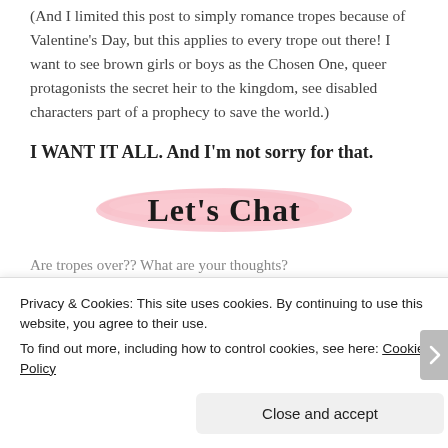(And I limited this post to simply romance tropes because of Valentine’s Day, but this applies to every trope out there! I want to see brown girls or boys as the Chosen One, queer protagonists the secret heir to the kingdom, see disabled characters part of a prophecy to save the world.)
I WANT IT ALL. And I’m not sorry for that.
[Figure (illustration): Pink watercolor brush stroke background with cursive text 'Let's Chat' written over it in black script font.]
Are tropes over?? What are your thoughts?
Privacy & Cookies: This site uses cookies. By continuing to use this website, you agree to their use.
To find out more, including how to control cookies, see here: Cookie Policy
Close and accept